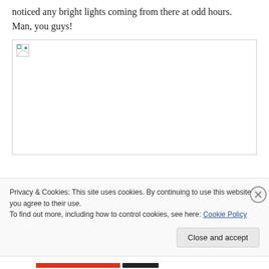noticed any bright lights coming from there at odd hours. Man, you guys!
[Figure (other): Broken/missing image placeholder with small image icon in top-left corner, large white area below]
The closet… Miss Someone… will be…
Privacy & Cookies: This site uses cookies. By continuing to use this website, you agree to their use.
To find out more, including how to control cookies, see here: Cookie Policy
Close and accept